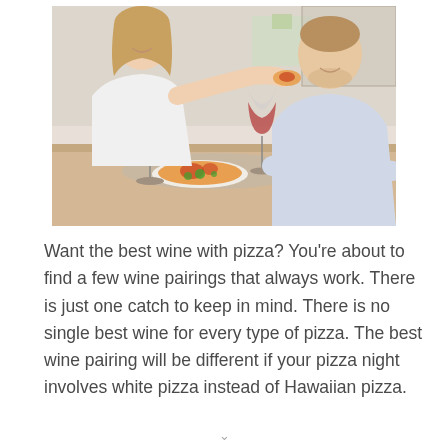[Figure (photo): A man and woman sitting at a wooden table sharing pizza and red wine. The woman, wearing a white top, is holding a slice of pizza toward the man who is leaning forward smiling. Two glasses of red wine and a pizza on a plate are on the table. Bright, light kitchen background.]
Want the best wine with pizza? You're about to find a few wine pairings that always work. There is just one catch to keep in mind. There is no single best wine for every type of pizza. The best wine pairing will be different if your pizza night involves white pizza instead of Hawaiian pizza.